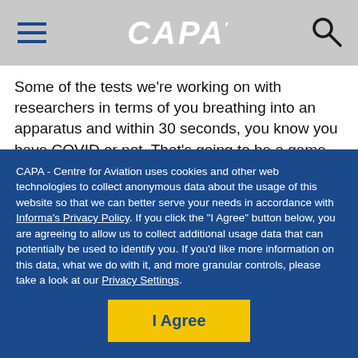CAPA
Some of the tests we're working on with researchers in terms of you breathing into an apparatus and within 30 seconds, you know you have COVID or not. That's going to be a game-changer for the tourism and airline industry. So I think there's not a lot of talk enough about testing and there's a lot of innovation on testing."
“And the third one is therapeutics. If Donald Trump can
CAPA - Centre for Aviation uses cookies and other web technologies to collect anonymous data about the usage of this website so that we can better serve your needs in accordance with Informa's Privacy Policy. If you click the "I Agree" button below, you are agreeing to allow us to collect additional usage data that can potentially be used to identify you. If you'd like more information on this data, what we do with it, and more granular controls, please take a look at our Privacy Settings.
I Agree